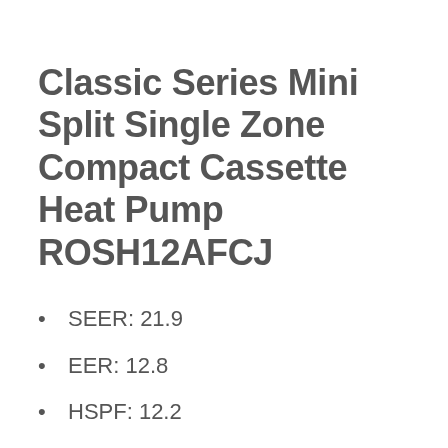Classic Series Mini Split Single Zone Compact Cassette Heat Pump ROSH12AFCJ
SEER: 21.9
EER: 12.8
HSPF: 12.2
Inverter technology
Wireless remote control